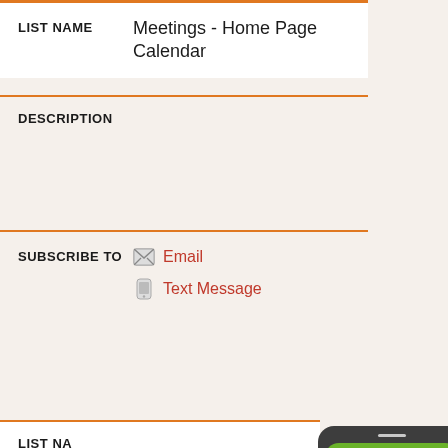| Field | Value |
| --- | --- |
| LIST NAME | Meetings - Home Page Calendar |
| DESCRIPTION |  |
| SUBSCRIBE TO | Email | Text Message |
[Figure (screenshot): TextMyGov popup overlay on a dark rounded phone-shaped card. Shows a green speech bubble with 'TextMyGov' in monospace bold text, followed by text: 'Skip a phone call and use your mobile phone’s text messaging to find answers to your questions. Text "Hi" to City of Decatur at (940) 245-4005'. A green 'More Info' button appears at the bottom.]